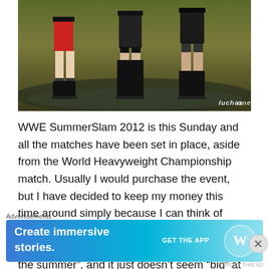[Figure (photo): Three wrestlers standing outdoors, showing lower bodies with boots and ring attire, dramatic lighting. Watermark reads 'luchas' in italic white text at bottom right.]
WWE SummerSlam 2012 is this Sunday and all the matches have been set in place, aside from the World Heavyweight Championship match. Usually I would purchase the event, but I have decided to keep my money this time around simply because I can think of more reasons why I shouldn't buy it. WWE hype SummerSlam as the “biggest event of the summer”, and it just doesn’t seem “big” at all. I love wrestling and I’m a
Advertisements
[Figure (screenshot): WordPress advertisement banner: 'Create immersive stories.' with GET THE APP button and WordPress logo]